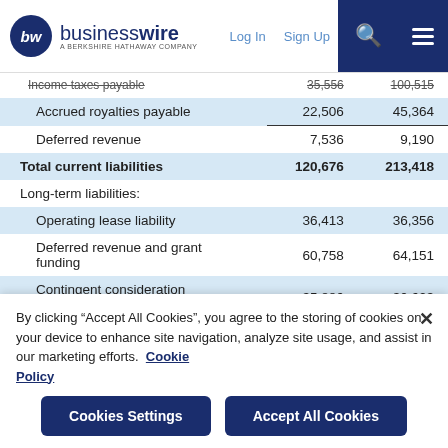businesswire - A BERKSHIRE HATHAWAY COMPANY | Log In | Sign Up
|  | Col1 | Col2 |
| --- | --- | --- |
| Income taxes payable | 35,556 | 100,515 |
| Accrued royalties payable | 22,506 | 45,364 |
| Deferred revenue | 7,536 | 9,190 |
| Total current liabilities | 120,676 | 213,418 |
| Long-term liabilities: |  |  |
| Operating lease liability | 36,413 | 36,356 |
| Deferred revenue and grant funding | 60,758 | 64,151 |
| Contingent consideration payable | 35,886 | 30,623 |
| Deferred tax liability | 37,370 | 36,804 |
By clicking “Accept All Cookies”, you agree to the storing of cookies on your device to enhance site navigation, analyze site usage, and assist in our marketing efforts. Cookie Policy
Cookies Settings | Accept All Cookies